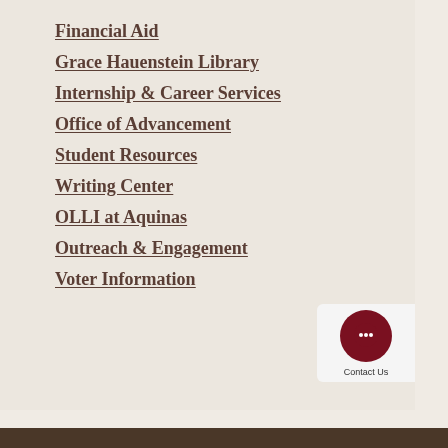Financial Aid
Grace Hauenstein Library
Internship & Career Services
Office of Advancement
Student Resources
Writing Center
OLLI at Aquinas
Outreach & Engagement
Voter Information